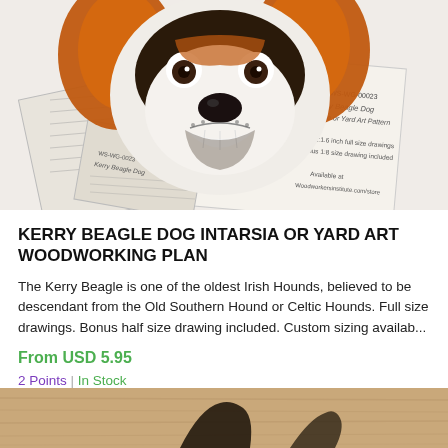[Figure (illustration): Illustration of a Kerry Beagle Dog face with woodworking plan sheets in the background. The dog has orange/brown fur with white and black markings. The plan sheets show drawings and text about the pattern.]
KERRY BEAGLE DOG INTARSIA OR YARD ART WOODWORKING PLAN
The Kerry Beagle is one of the oldest Irish Hounds, believed to be descendant from the Old Southern Hound or Celtic Hounds. Full size drawings. Bonus half size drawing included. Custom sizing availab...
From USD 5.95
2 Points | In Stock
[Figure (photo): Partial view of a wooden surface/product at the bottom of the page, light wood grain visible with a dark silhouette shape on it.]